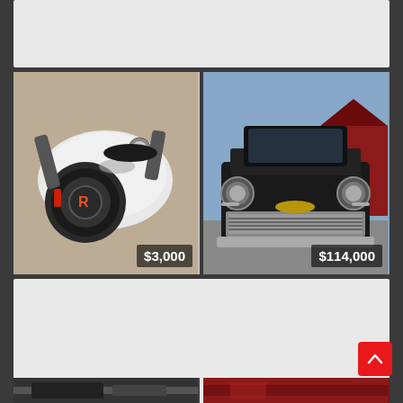[Figure (photo): Top card placeholder - light gray background card]
[Figure (photo): Motorcycle close-up photo showing handlebars and tank with orange R logo, price badge $3,000]
[Figure (photo): Classic 1957 Chevrolet front view, black car with chrome grille, red barn in background, price badge $114,000]
[Figure (photo): Large light gray placeholder card]
[Figure (photo): Bottom row - two partially visible vehicle photos]